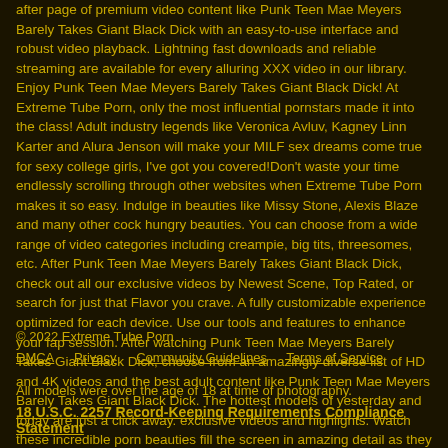after page of premium video content like Punk Teen Mae Meyers Barely Takes Giant Black Dick with an easy-to-use interface and robust video playback. Lightning fast downloads and reliable streaming are available for every alluring XXX video in our library. Enjoy Punk Teen Mae Meyers Barely Takes Giant Black Dick! At Extreme Tube Porn, only the most influential pornstars made it into the class! Adult industry legends like Veronica Avluv, Kagney Linn Karter and Alura Jenson will make your MILF sex dreams come true for sexy college girls, I've got you covered!Don't waste your time endlessly scrolling through other websites when Extreme Tube Porn makes it so easy. Indulge in beauties like Missy Stone, Alexis Blaze and many other cock hungry beauties. You can choose from a wide range of video categories including creampie, big tits, threesomes, etc. After Punk Teen Mae Meyers Barely Takes Giant Black Dick, check out all our exclusive videos by Newest Scene, Top Rated, or search for just that Flavor you crave. A fully customizable experience optimized for each device. Use our tools and features to enhance your fap session. After watching Punk Teen Mae Meyers Barely Takes Giant Black Dick, choose from an amazingly diverse list of HD and 4K videos and the best adult content like Punk Teen Mae Meyers Barely Takes Giant Black Dick. The hottest models of yesterday and today are just a click away. exclusive videos and highlights. Watch these incredible porn beauties fill the screen in amazing detail as they fill themselves!
© 2022 Extreme Tube Porn
DMCA   Privacy   Community Guidelines   Terms of Service
All models were over the age of 18 at time of photography.
18 U.S.C. 2257 Record-Keeping Requirements Compliance Statement